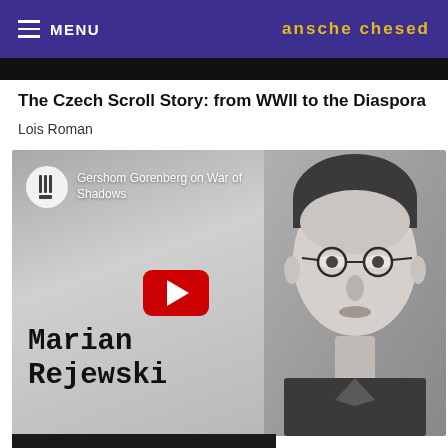☰ MENU | ansche chesed
The Czech Scroll Story: from WWII to the Diaspora
Lois Roman
[Figure (screenshot): YouTube video thumbnail showing two panels: left panel has YouTube channel icon, text 'Gershom Gorenberg on War of Shadows', and large text 'Marian Rejewski' in typewriter font on grey background with YouTube play button overlay; right panel shows a black and white photograph of a man wearing glasses (Marian Rejewski).]